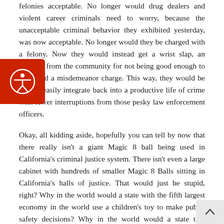felonies acceptable. No longer would drug dealers and violent career criminals need to worry, because the unacceptable criminal behavior they exhibited yesterday, was now acceptable. No longer would they be charged with a felony. Now they would instead get a wrist slap, an apology from the community for not being good enough to them and a misdemeanor charge. This way, they would be able to easily integrate back into a productive life of crime with fewer interruptions from those pesky law enforcement officers.
Okay, all kidding aside, hopefully you can tell by now that there really isn't a giant Magic 8 ball being used in California's criminal justice system. There isn't even a large cabinet with hundreds of smaller Magic 8 Balls sitting in California's halls of justice. That would just be stupid, right? Why in the world would a state with the fifth largest economy in the world use a children's toy to make public safety decisions? Why in the world would a state that boasts about its diversity and culture rely on something as simple as a floating triangular dice roll to ensure racial and socioeconomic equality in our criminal justice system? As much as I would like to say with confidence that they would never do those things, I can't. As ludicrous as these question sound, that's exactly what California is doing.